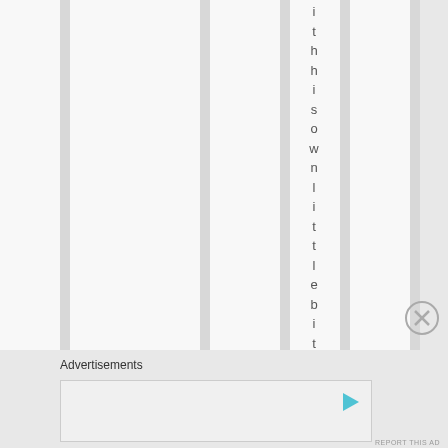[Figure (other): Page with vertical striped column layout showing vertically rotated text reading 'ithhi sown little bi' (partial), rendered as individual characters stacked vertically in one of the white columns]
Advertisements
[Figure (other): Advertisement banner placeholder box with a play button icon in the top right corner]
REPORT THIS AD